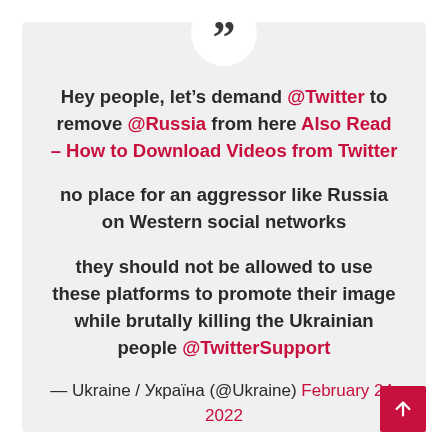Hey people, let's demand @Twitter to remove @Russia from here Also Read – How to Download Videos from Twitter

no place for an aggressor like Russia on Western social networks

they should not be allowed to use these platforms to promote their image while brutally killing the Ukrainian people @TwitterSupport

— Ukraine / Україна (@Ukraine) February 24, 2022